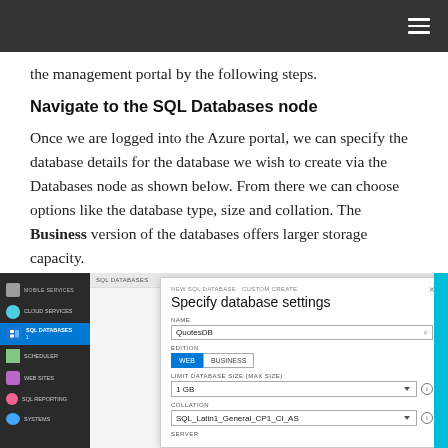the management portal by the following steps.
Navigate to the SQL Databases node
Once we are logged into the Azure portal, we can specify the database details for the database we wish to create via the Databases node as shown below. From there we can choose options like the database type, size and collation. The Business version of the databases offers larger storage capacity.
[Figure (screenshot): Screenshot of Azure Management Portal showing the SQL Databases node and a 'New SQL Database - Custom Create' dialog with fields: NAME (QuotesDB), EDITION (WEB selected, BUSINESS option), LIMIT DATABASE SIZE (1 GB), COLLATION (SQL_Latin1_General_CP1_CI_AS), and SERVER.]